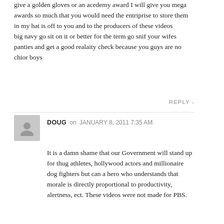give a golden gloves or an acedemy award I will give you mega awards so much that you would need the entriprise to store them in my hat is off to you and to the producers of these videos
big navy go sit on it or better for the term go snif your wifes panties and get a good realaity check because you guys are no chior boys
REPLY
DOUG on JANUARY 8, 2011 7:35 AM
It is a damn shame that our Government will stand up for thug athletes, hollywood actors and millionaire dog fighters but can a hero who understands that morale is directly proportional to productivity, alertness, ect. These videos were not made for PBS.